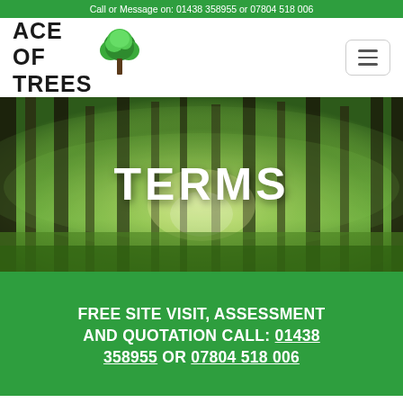Call or Message on: 01438 358955 or 07804 518 006
[Figure (logo): Ace of Trees logo with tree icon and company name in bold black text]
[Figure (photo): Forest hero image with sunlight through tall green trees, overlaid with bold white text TERMS]
TERMS
FREE SITE VISIT, ASSESSMENT AND QUOTATION CALL: 01438 358955 or 07804 518 006